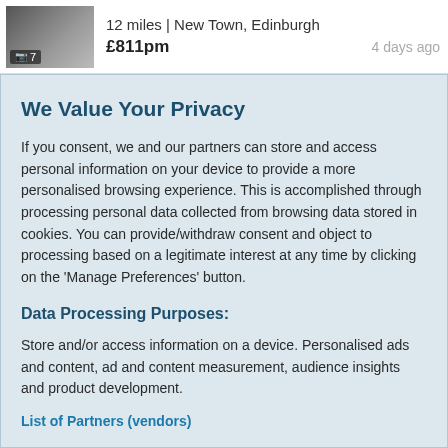[Figure (photo): Thumbnail photo of a room/office interior with camera icon and photo count badge showing 7]
12 miles | New Town, Edinburgh
£811pm    4 days ago
We Value Your Privacy
If you consent, we and our partners can store and access personal information on your device to provide a more personalised browsing experience. This is accomplished through processing personal data collected from browsing data stored in cookies. You can provide/withdraw consent and object to processing based on a legitimate interest at any time by clicking on the 'Manage Preferences' button.
Data Processing Purposes:
Store and/or access information on a device. Personalised ads and content, ad and content measurement, audience insights and product development.
List of Partners (vendors)
Accept
Manage your privacy settings